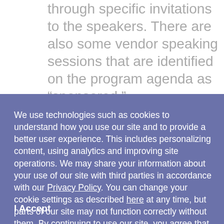through specific invitations to the speakers. There are also some vendor speaking sessions that are identified on the program agenda as “sponsored.”
We use technologies such as cookies to understand how you use our site and to provide a better user experience. This includes personalizing content, using analytics and improving site operations. We may share your information about your use of our site with third parties in accordance with our Privacy Policy. You can change your cookie settings as described here at any time, but parts of our site may not function correctly without them. By continuing to use our site, you agree that we can save cookies on your device, unless you have disabled cookies.
I Accept